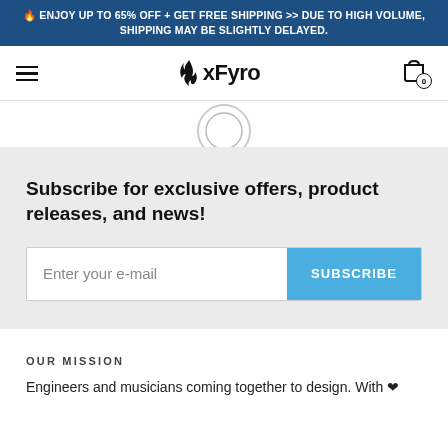🔥 ENJOY UP TO 65% OFF + GET FREE SHIPPING >> DUE TO HIGH VOLUME, SHIPPING MAY BE SLIGHTLY DELAYED.
[Figure (logo): xFyro brand logo with flame icon and hamburger menu on left, shopping cart icon with 0 badge on right]
Subscribe for exclusive offers, product releases, and news!
Enter your e-mail | SUBSCRIBE
OUR MISSION
Engineers and musicians coming together to design. With ❤